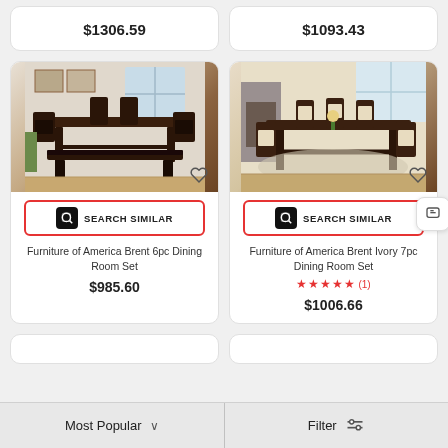$1306.59
$1093.43
[Figure (photo): Furniture of America Brent 6pc Dining Room Set product photo showing dark wood table with chairs and bench]
[Figure (photo): Furniture of America Brent Ivory 7pc Dining Room Set product photo showing dining table with cream upholstered chairs]
SEARCH SIMILAR
SEARCH SIMILAR
Furniture of America Brent 6pc Dining Room Set
Furniture of America Brent Ivory 7pc Dining Room Set
★★★★★ (1)
$985.60
$1006.66
Most Popular
Filter